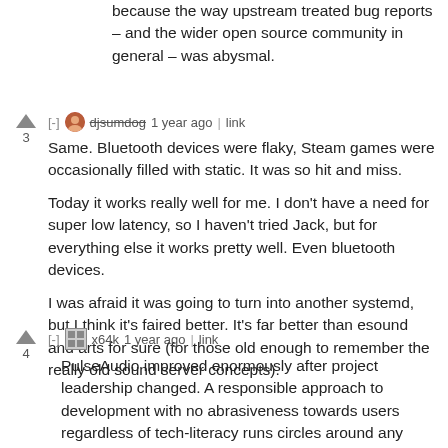because the way upstream treated bug reports – and the wider open source community in general – was abysmal.
[-] djsumdog 1 year ago | link
3
Same. Bluetooth devices were flaky, Steam games were occasionally filled with static. It was so hit and miss.

Today it works really well for me. I don't have a need for super low latency, so I haven't tried Jack, but for everything else it works pretty well. Even bluetooth devices.

I was afraid it was going to turn into another systemd, but I think it's faired better. It's far better than esound and arts for sure (for those old enough to remember the really old sound server concepts).
[-] x64k 1 year ago | link
4
PulseAudio improved enormously after project leadership changed. A responsible approach to development with no abrasiveness towards users regardless of tech-literacy runs circles around any ego-driven process, no matter how much technical expertise is there.